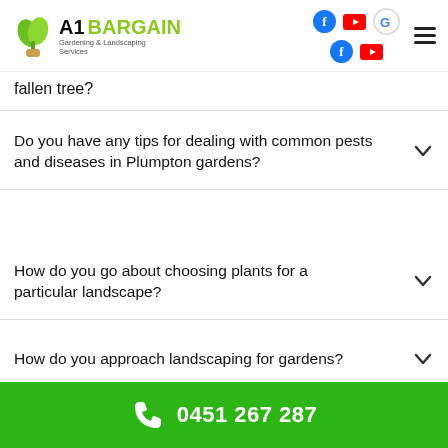[Figure (logo): A1 Bargain Gardening & Landscaping Services logo with green leaf icon]
fallen tree?
Do you have any tips for dealing with common pests and diseases in Plumpton gardens?
How do you go about choosing plants for a particular landscape?
How do you approach landscaping for gardens?
0451 267 287